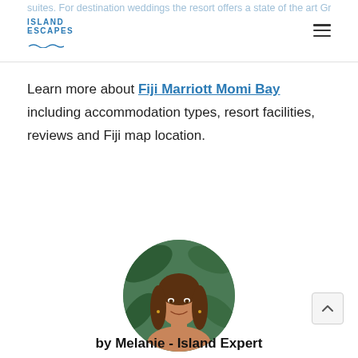suites. For destination weddings the resort offers a state of the art Grand Salon Ballroom and large pre-function and outdoor space.
Learn more about Fiji Marriott Momi Bay including accommodation types, resort facilities, reviews and Fiji map location.
[Figure (photo): Circular headshot of Melanie, a woman with long brown hair, smiling, against a green tropical leaf background.]
by Melanie - Island Expert